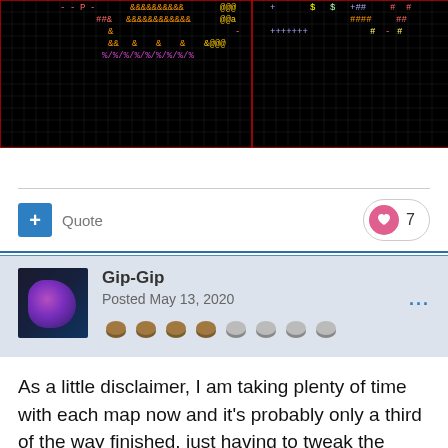[Figure (screenshot): Screenshot of a roguelike/ASCII game map showing colored characters (#, &, @, %, +, $, -) on a black grid background, with red grid lines dividing the screen into two panels]
Quote
7
Gip-Gip
Posted May 13, 2020
As a little disclaimer, I am taking plenty of time with each map now and it's probably only a third of the way finished, just having to tweak the engine as I go to do as I want has taken a bit of time.